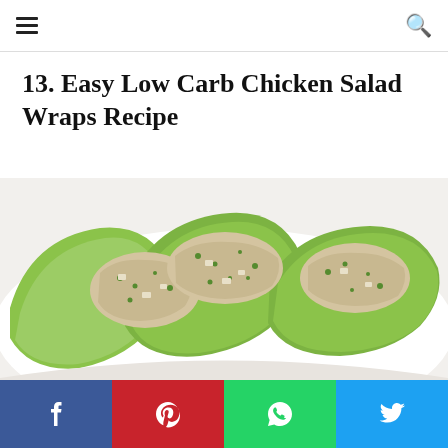Navigation header with hamburger menu and search icon
13. Easy Low Carb Chicken Salad Wraps Recipe
[Figure (photo): Chicken salad served in green lettuce wraps on a white plate, with creamy chicken mixture containing herbs and vegetables]
Social share buttons: Facebook, Pinterest, WhatsApp, Twitter